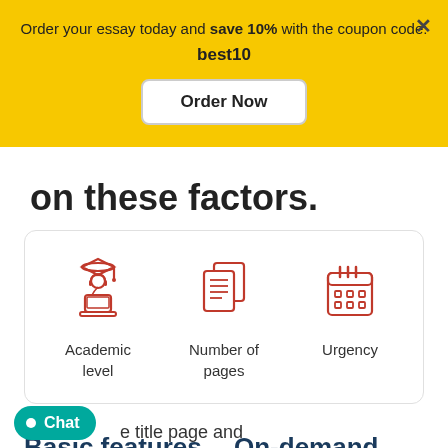Order your essay today and save 10% with the coupon code: best10
Order Now
on these factors.
[Figure (illustration): Three red icons: Academic level (student with graduation cap at laptop), Number of pages (stacked documents), Urgency (calendar)]
Academic level
Number of pages
Urgency
Basic features
On-demand options
e title page and